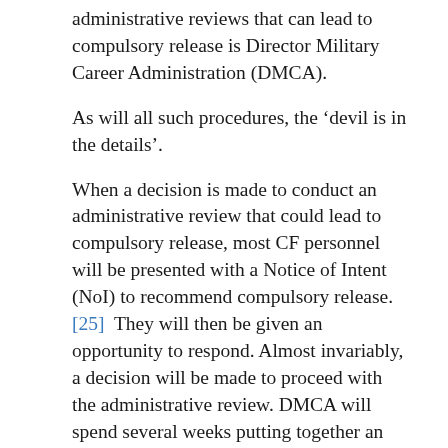administrative reviews that can lead to compulsory release is Director Military Career Administration (DMCA).
As will all such procedures, the ‘devil is in the details’.
When a decision is made to conduct an administrative review that could lead to compulsory release, most CF personnel will be presented with a Notice of Intent (NoI) to recommend compulsory release.[25]  They will then be given an opportunity to respond.  Almost invariably, a decision will be made to proceed with the administrative review.  DMCA will spend several weeks putting together an administrative review file.  This will then be disclosed to the affected CF member, who will be given 15 working days[26] to respond.